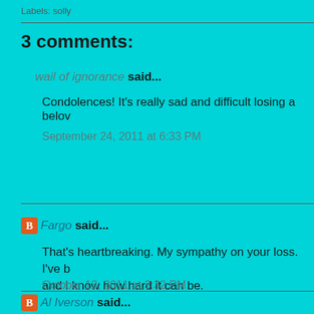Labels: solly
3 comments:
wail of ignorance said...
Condolences! It's really sad and difficult losing a belov...
September 24, 2011 at 6:33 PM
Fargo said...
That's heartbreaking. My sympathy on your loss. I've b... and I know how hard it can be.
October 13, 2011 at 3:32 PM
Al Iverson said...
Thank you kindly.